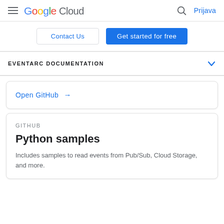Google Cloud — Prijava
Contact Us | Get started for free
EVENTARC DOCUMENTATION
Open GitHub →
GITHUB
Python samples
Includes samples to read events from Pub/Sub, Cloud Storage, and more.